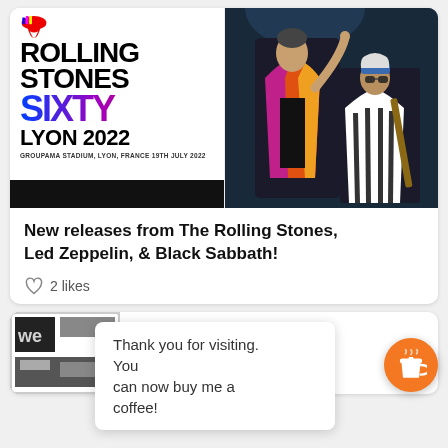[Figure (photo): Rolling Stones SIXTY Lyon 2022 concert poster on left, concert photo of Mick Jagger and Keith Richards performing on right]
New releases from The Rolling Stones, Led Zeppelin, & Black Sabbath!
2 likes
[Figure (photo): Partial view of another album/post card at bottom]
Thank you for visiting. You can now buy me a coffee!